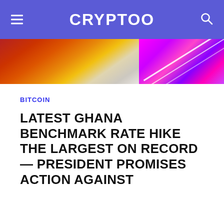CRYPTOO
[Figure (photo): Banner image showing Ghana flag colors on the left and neon pink/purple graphic elements on the right]
BITCOIN
LATEST GHANA BENCHMARK RATE HIKE THE LARGEST ON RECORD — PRESIDENT PROMISES ACTION AGAINST